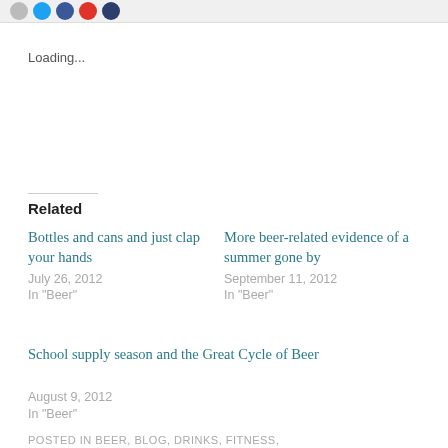[Figure (other): Social sharing icon circles (gray, blue, dark blue, red, dark navy) at top of page]
Loading...
Related
Bottles and cans and just clap your hands
July 26, 2012
In "Beer"
More beer-related evidence of a summer gone by
September 11, 2012
In "Beer"
School supply season and the Great Cycle of Beer
August 9, 2012
In "Beer"
POSTED IN BEER, BLOG, DRINKS, FITNESS,